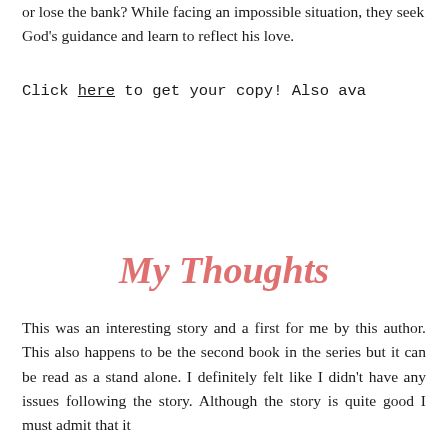or lose the bank? While facing an impossible situation, they seek God's guidance and learn to reflect his love.
Click here to get your copy! Also ava
My Thoughts
This was an interesting story and a first for me by this author. This also happens to be the second book in the series but it can be read as a stand alone. I definitely felt like I didn't have any issues following the story. Although the story is quite good I must admit that it